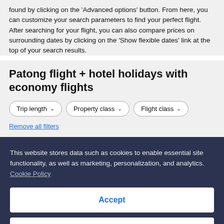found by clicking on the 'Advanced options' button. From here, you can customize your search parameters to find your perfect flight. After searching for your flight, you can also compare prices on surrounding dates by clicking on the 'Show flexible dates' link at the top of your search results.
Patong flight + hotel holidays with economy flights
Trip length  Property class  Flight class
Remove all filters
This website stores data such as cookies to enable essential site functionality, as well as marketing, personalization, and analytics. Cookie Policy
Accept
Deny